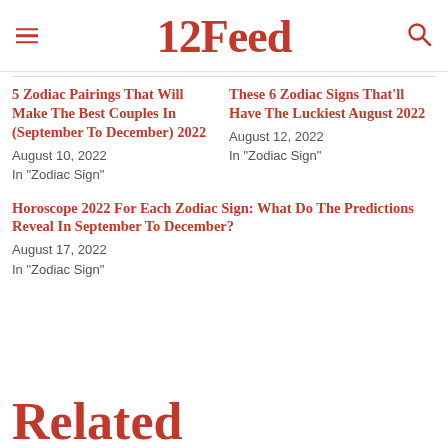12Feed
5 Zodiac Pairings That Will Make The Best Couples In (September To December) 2022
August 10, 2022
In "Zodiac Sign"
These 6 Zodiac Signs That'll Have The Luckiest August 2022
August 12, 2022
In "Zodiac Sign"
Horoscope 2022 For Each Zodiac Sign: What Do The Predictions Reveal In September To December?
August 17, 2022
In "Zodiac Sign"
Related